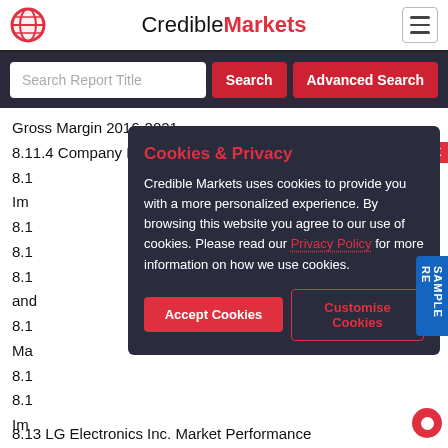CredibleMarkets
Search Report Title
Gross Margin 2016-2021
8.11.4 Company Recent Developments
8.1
Im
8.1
8.1
8.1
and
8.1
Ma
8.1
8.1
Im
8.13 LG Electronics Inc. Market Performance
[Figure (screenshot): Cookies & Privacy modal dialog on CredibleMarkets website. Title 'Cookies & Privacy' in red. Body text: 'Credible Markets uses cookies to provide you with a more personalized experience. By browsing this website you agree to our use of cookies. Please read our Privacy Policy for more information on how we use cookies.' Two buttons: 'Accept Cookies' (red) and 'Customise Cookies' (outlined red).]